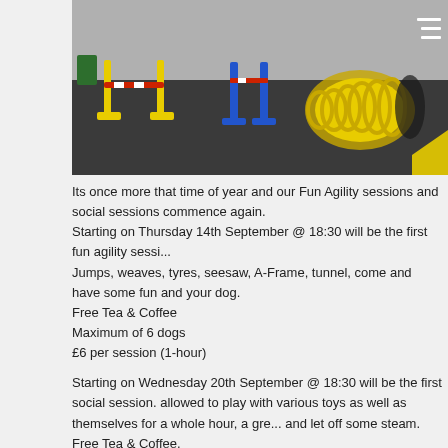[Figure (photo): Indoor dog agility arena with yellow and blue jump stands, yellow tunnel, and dark rubber flooring. A hamburger menu icon is visible in the top-right corner of the image.]
Its once more that time of year and our Fun Agility sessions and social sessions commence again.
Starting on Thursday 14th September @ 18:30 will be the first fun agility session. Jumps, weaves, tyres, seesaw, A-Frame, tunnel, come and have some fun and train your dog.
Free Tea & Coffee
Maximum of 6 dogs
£6 per session (1-hour)
Starting on Wednesday 20th September @ 18:30 will be the first social session. allowed to play with various toys as well as themselves for a whole hour, a great way and let off some steam.
Free Tea & Coffee.
Maximum of 6 dogs, no dogs with aggressive tendencies will be allowed on the £6 per session (1-hour)
Additional (later) sessions may also be added subject to demand, all places on served basis, please do not book a space unless you can definitely use the spa